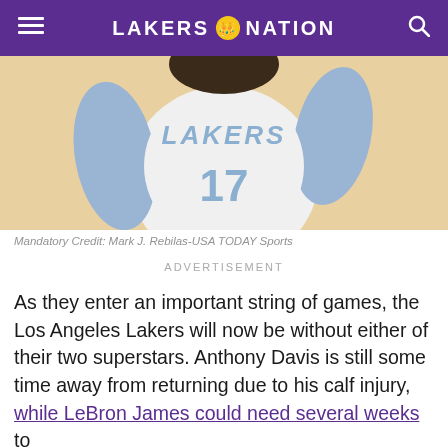LAKERS NATION
[Figure (photo): Lakers player wearing jersey number 17 with light blue arm sleeves, Lakers white city edition uniform, on a basketball court]
Mandatory Credit: Mark J. Rebilas-USA TODAY Sports
ADVERTISEMENT
As they enter an important string of games, the Los Angeles Lakers will now be without either of their two superstars. Anthony Davis is still some time away from returning due to his calf injury, while LeBron James could need several weeks to